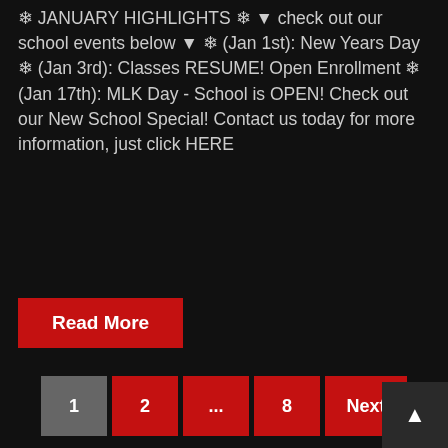❄ JANUARY HIGHLIGHTS ❄ ▼ check out our school events below ▼ ❄ (Jan 1st): New Years Day ❄ (Jan 3rd): Classes RESUME! Open Enrollment ❄ (Jan 17th): MLK Day - School is OPEN! Check out our New School Special! Contact us today for more information, just click HERE
Read More
1 2 ... 8 Next
Koryo Do
Home
About Koryo Do